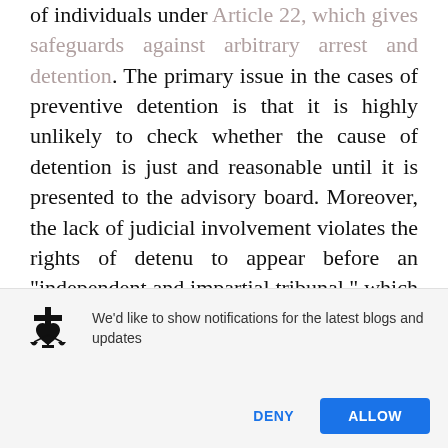of individuals under Article 22, which gives safeguards against arbitrary arrest and detention. The primary issue in the cases of preventive detention is that it is highly unlikely to check whether the cause of detention is just and reasonable until it is presented to the advisory board. Moreover, the lack of judicial involvement violates the rights of detenu to appear before an "independent and impartial tribunal," which is in direct contravention of
[Figure (screenshot): Browser push notification prompt with a scales-of-justice logo icon on the left, notification text 'We'd like to show notifications for the latest blogs and updates', and two buttons: 'DENY' and 'ALLOW' (blue).]